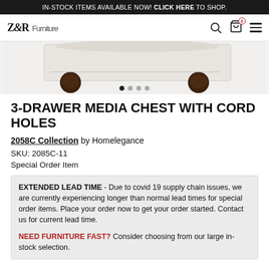IN-STOCK ITEMS AVAILABLE NOW! CLICK HERE TO SHOP.
[Figure (screenshot): Z&R Furniture website navigation bar with logo, search icon, cart icon (0 items), and hamburger menu]
[Figure (photo): 3-drawer media chest with cord holes, white/cream finish with dark brown bun feet, bottom portion visible]
3-DRAWER MEDIA CHEST WITH CORD HOLES
2058C Collection by Homelegance
SKU: 2085C-11
Special Order Item
EXTENDED LEAD TIME - Due to covid 19 supply chain issues, we are currently experiencing longer than normal lead times for special order items. Place your order now to get your order started. Contact us for current lead time.

NEED FURNITURE FAST? Consider choosing from our large in-stock selection.